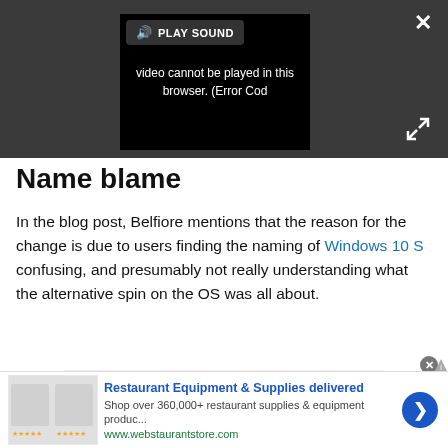[Figure (screenshot): Video player showing error message: 'video cannot be played in this browser. (Error Cod' with a PLAY SOUND button overlay, close X button top right, and expand arrows bottom right. Dark grey background.]
Name blame
In the blog post, Belfiore mentions that the reason for the change is due to users finding the naming of Windows 10 S confusing, and presumably not really understanding what the alternative spin on the OS was all about.
Advertisement
[Figure (screenshot): Banner advertisement: Restaurant Equipment & Supplies delivered. Shop over 360,000+ restaurant supplies & equipment produc... www.webstaurantstore.com. Blue arrow button on right.]